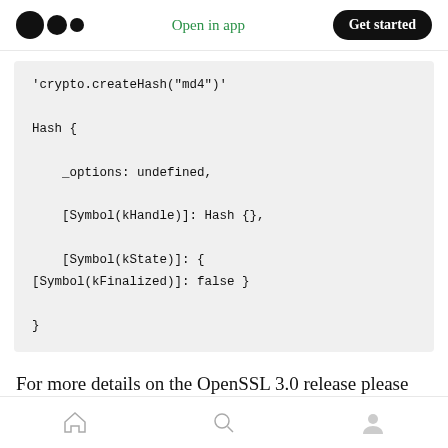Open in app | Get started
'crypto.createHash("md4")'

Hash {

    _options: undefined,

    [Symbol(kHandle)]: Hash {},

    [Symbol(kState)]: {
[Symbol(kFinalized)]: false }

}
For more details on the OpenSSL 3.0 release please see the OpenSSL 3.0 release post.
Home | Search | Profile